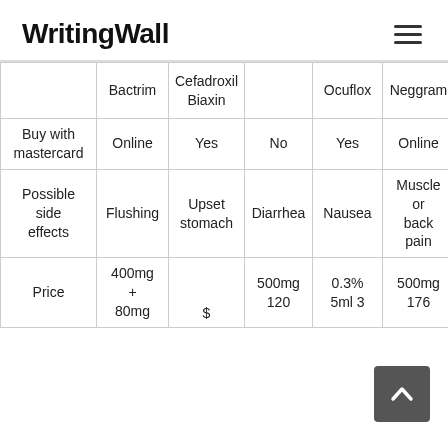WritingWall
|  | Bactrim | Cefadroxil | Biaxin | Ocuflox | Neggram | Pr… |
| --- | --- | --- | --- | --- | --- | --- |
| Buy with mastercard | Online | Yes | No | Yes | Online |  |
| Possible side effects | Flushing | Upset stomach | Diarrhea | Nausea | Muscle or back pain | M… |
| Price | 400mg + 80mg | $… | 500mg 120 | 0.3% 5ml 3 | 500mg 176 | 25… |